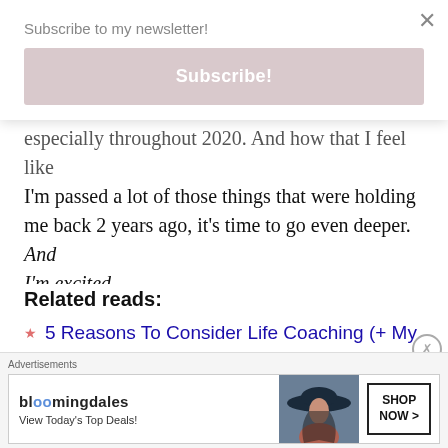Subscribe to my newsletter!
Subscribe!
especially throughout 2020. And how that I feel like I'm passed a lot of those things that were holding me back 2 years ago, it's time to go even deeper. And I'm excited.
Related reads:
5 Reasons To Consider Life Coaching (+ My Own Experience)
Advertisements
[Figure (other): Bloomingdale's advertisement banner with logo, 'View Today's Top Deals!' tagline, a woman in a wide-brim hat, and a 'SHOP NOW >' button]